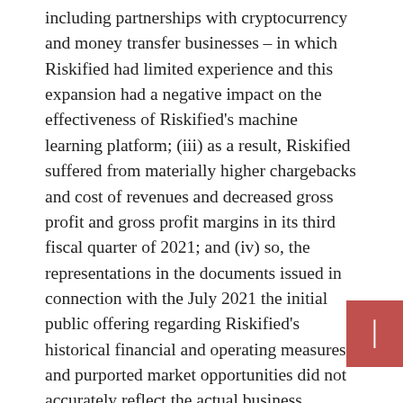including partnerships with cryptocurrency and money transfer businesses – in which Riskified had limited experience and this expansion had a negative impact on the effectiveness of Riskified's machine learning platform; (iii) as a result, Riskified suffered from materially higher chargebacks and cost of revenues and decreased gross profit and gross profit margins in its third fiscal quarter of 2021; and (iv) so, the representations in the documents issued in connection with the July 2021 the initial public offering regarding Riskified's historical financial and operating measures and purported market opportunities did not accurately reflect the actual business, operations and financial results and trajectory of Riskified prior to and the time of the offering July 2021 initial public offering were materially false and misleading and